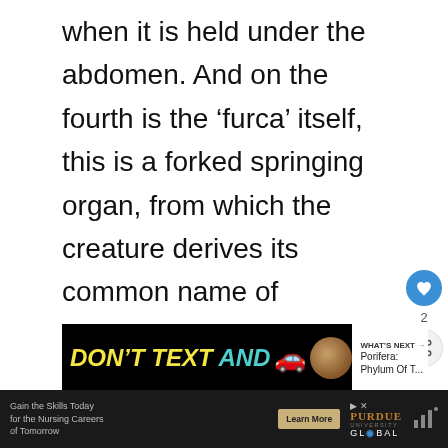when it is held under the abdomen. And on the fourth is the ‘furca’ itself, this is a forked springing organ, from which the creature derives its common name of “springtail”.
[Figure (other): Social media widget with heart/like button showing count of 2 and a share button]
[Figure (screenshot): Advertisement banner: DON'T TEXT AND [car emoji] with What's Next arrow to Porifera: Phylum Of T...]
[Figure (screenshot): Bottom advertisement banner: Gain the Skills Today for the Nursing Careers of Tomorrow, Learn More button, Purdue University Global logo]